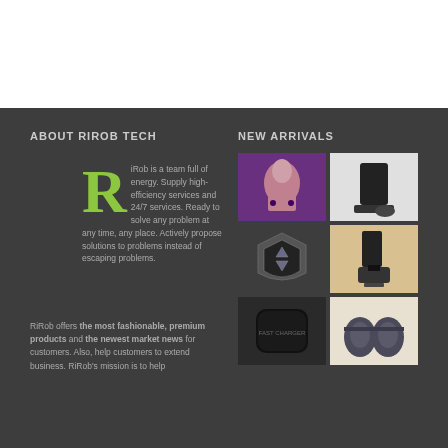ABOUT RIROB TECH
NEW ARRIVALS
iRob is a team full of energy. Supply high-efficiency services and 24/7 services. Ready to solve any problem at any time, any place. Actively propose solutions to problems instead of escaping problems.
RiRob offers the most fashionable, premium products and the newest market news for customers. Also, help customers to extend business. RiRob's mission is to help
[Figure (photo): Grid of 6 product photos: earphones with woman model, phone stand black, car mount shield logo, phone charging stand, wireless charger puck, earbuds case]